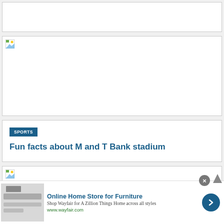[Figure (other): Blank white card area at top of page]
[Figure (photo): Large image placeholder with broken image icon in top-left corner]
SPORTS
Fun facts about M and T Bank stadium
[Figure (photo): Partial image placeholder with broken image icon visible at bottom of page]
[Figure (other): Advertisement banner: Online Home Store for Furniture - Shop Wayfair for A Zillion Things Home across all styles - www.wayfair.com]